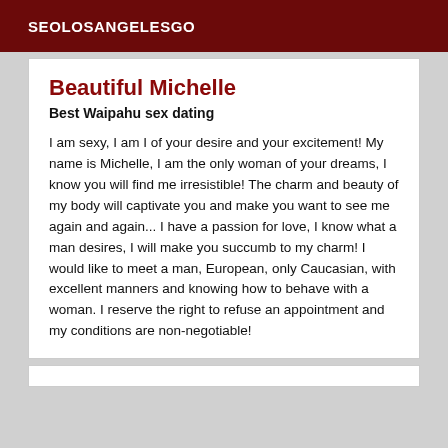SEOLOSANGELESGO
Beautiful Michelle
Best Waipahu sex dating
I am sexy, I am I of your desire and your excitement! My name is Michelle, I am the only woman of your dreams, I know you will find me irresistible! The charm and beauty of my body will captivate you and make you want to see me again and again... I have a passion for love, I know what a man desires, I will make you succumb to my charm! I would like to meet a man, European, only Caucasian, with excellent manners and knowing how to behave with a woman. I reserve the right to refuse an appointment and my conditions are non-negotiable!